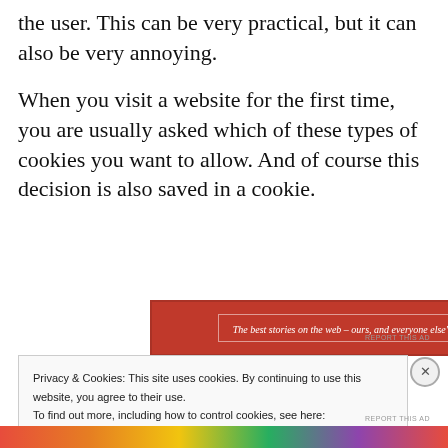the user. This can be very practical, but it can also be very annoying.
When you visit a website for the first time, you are usually asked which of these types of cookies you want to allow. And of course this decision is also saved in a cookie.
[Figure (screenshot): Red advertisement banner with white italic text: 'The best stories on the web – ours, and everyone else's.']
REPORT THIS AD
Privacy & Cookies: This site uses cookies. By continuing to use this website, you agree to their use.
To find out more, including how to control cookies, see here:
Cookie Policy
Close and accept
[Figure (screenshot): Colorful bottom advertisement banner]